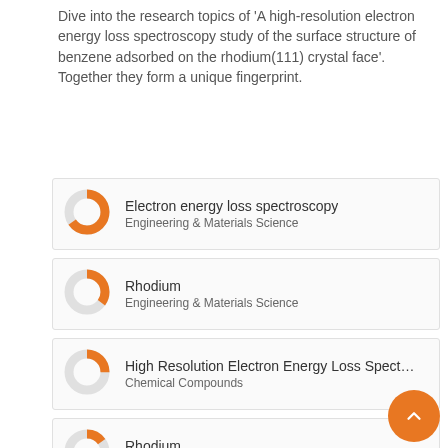Dive into the research topics of 'A high-resolution electron energy loss spectroscopy study of the surface structure of benzene adsorbed on the rhodium(111) crystal face'. Together they form a unique fingerprint.
[Figure (donut-chart): Donut chart icon for Electron energy loss spectroscopy, approximately 90% filled orange]
Electron energy loss spectroscopy
Engineering & Materials Science
[Figure (donut-chart): Donut chart icon for Rhodium (Engineering), approximately 60% filled orange]
Rhodium
Engineering & Materials Science
[Figure (donut-chart): Donut chart icon for High Resolution Electron Energy Loss Spectroscopy, approximately 50% filled orange]
High Resolution Electron Energy Loss Spectrosco
Chemical Compounds
[Figure (donut-chart): Donut chart icon for Rhodium (Physics), approximately 40% filled orange]
Rhodium
Physics & Astronomy
[Figure (donut-chart): Donut chart icon for Benzene, approximately 55% filled orange]
Benzene
Engineering & Materials Science